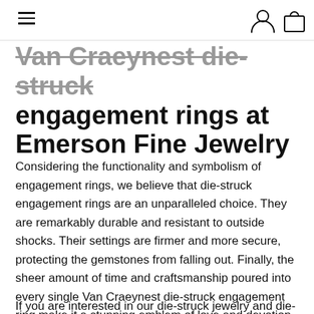[navigation bar with hamburger menu, user icon, and shopping bag icon]
Van Craeynest die-struck engagement rings at Emerson Fine Jewelry
Considering the functionality and symbolism of engagement rings, we believe that die-struck engagement rings are an unparalleled choice. They are remarkably durable and resistant to outside shocks. Their settings are firmer and more secure, protecting the gemstones from falling out. Finally, the sheer amount of time and craftsmanship poured into every single Van Craeynest die-struck engagement ring make it a stunning emblem of love and devotion.
If you are interested in our die-struck jewelry and die-struck